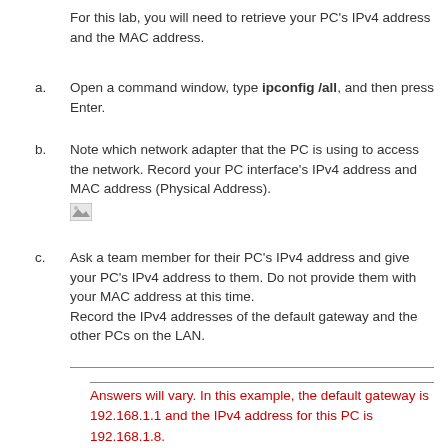For this lab, you will need to retrieve your PC's IPv4 address and the MAC address.
a. Open a command window, type ipconfig /all, and then press Enter.
b. Note which network adapter that the PC is using to access the network. Record your PC interface's IPv4 address and MAC address (Physical Address).
[Figure (photo): Broken image placeholder]
c. Ask a team member for their PC's IPv4 address and give your PC's IPv4 address to them. Do not provide them with your MAC address at this time. Record the IPv4 addresses of the default gateway and the other PCs on the LAN.
Answers will vary. In this example, the default gateway is 192.168.1.1 and the IPv4 address for this PC is 192.168.1.8.